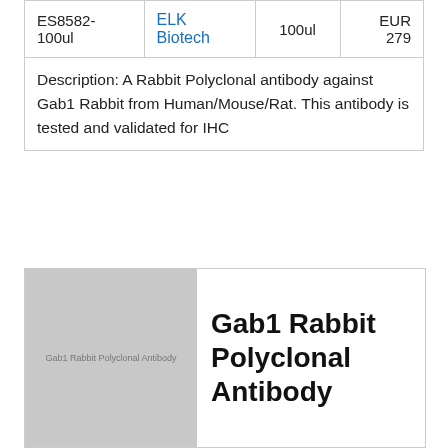| Catalog | Supplier | Size | Price |
| --- | --- | --- | --- |
| ES8582-100ul | ELK Biotech | 100ul | EUR 279 |
| Description: A Rabbit Polyclonal antibody against Gab1 Rabbit from Human/Mouse/Rat. This antibody is tested and validated for IHC |  |  |  |
[Figure (photo): Product image placeholder showing Gab1 Rabbit Polyclonal Antibody label on grey background]
Gab1 Rabbit Polyclonal Antibody